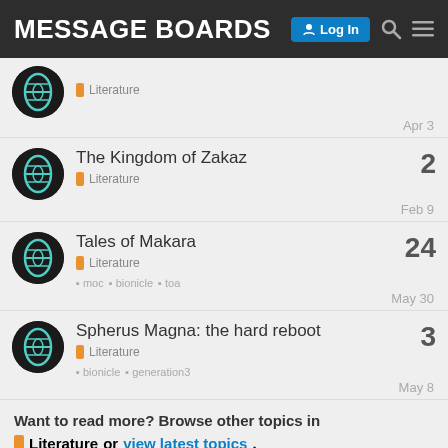MESSAGE BOARDS
Literature — Apr 3
The Kingdom of Zakaz — Literature — Feb 9 — replies: 2
Tales of Makara — Literature — moc bionicle toa — May 30 — replies: 24
Spherus Magna: the hard reboot — Literature — bionicle generation3 — May 8 — replies: 3
Want to read more? Browse other topics in Literature or view latest topics.